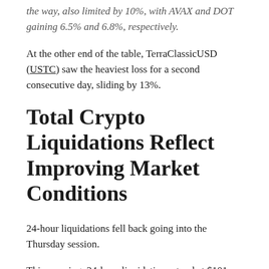the way, also limited by 10%, with AVAX and DOT gaining 6.5% and 6.8%, respectively.
At the other end of the table, TerraClassicUSD (USTC) saw the heaviest loss for a second consecutive day, sliding by 13%.
Total Crypto Liquidations Reflect Improving Market Conditions
24-hour liquidations fell back going into the Thursday session.
This morning, 24-hour liquidations stood at $101 million, down from $170.7 million on Wednesday.